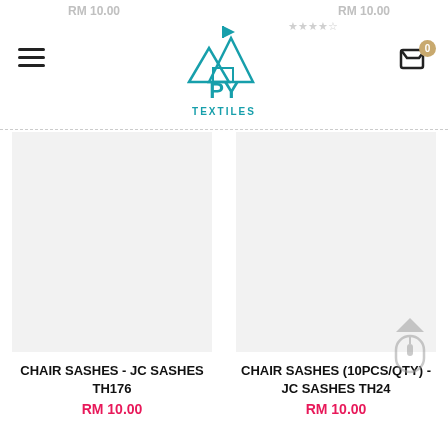PY TEXTILES
RM 10.00
RM 10.00
CHAIR SASHES - JC SASHES TH176
RM 10.00
CHAIR SASHES (10PCS/QTY) - JC SASHES TH24
RM 10.00